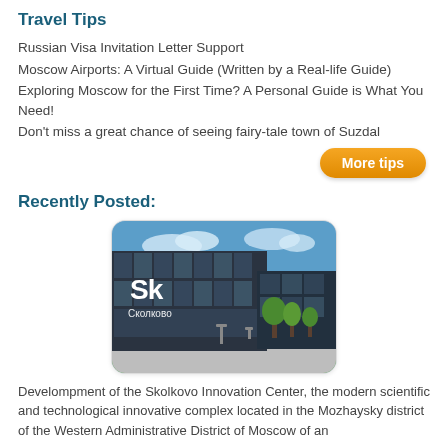Travel Tips
Russian Visa Invitation Letter Support
Moscow Airports: A Virtual Guide (Written by a Real-life Guide)
Exploring Moscow for the First Time? A Personal Guide is What You Need!
Don't miss a great chance of seeing fairy-tale town of Suzdal
More tips
Recently Posted:
[Figure (photo): Photograph of the Skolkovo Innovation Center building exterior with 'Sk Сколково' logo on a dark glass facade, trees and blue sky in background]
Develompment of the Skolkovo Innovation Center, the modern scientific and technological innovative complex located in the Mozhaysky district of the Western Administrative District of Moscow of an